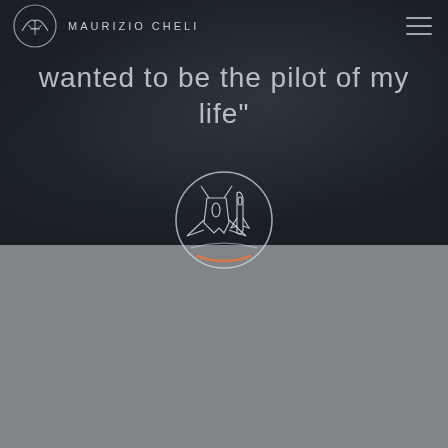MAURIZIO CHELI
wanted to be the pilot of my life”
[Figure (logo): Circular emblem with outline drawings of a fighter jet and space shuttle, with an orange arc at the bottom. White line art on dark background.]